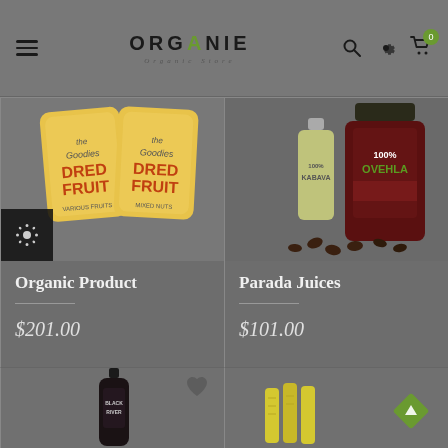ORGANIE — Organic Store navigation header with menu, search, settings, cart icons
[Figure (photo): Product card: Organic Product — two yellow packaged dried fruit products. Price $201.00]
[Figure (photo): Product card: Parada Juices — juice bottles and coffee beans. Price $101.00]
[Figure (photo): Bottom product card (partial): Black River juice bottle with heart icon]
[Figure (photo): Bottom product card (partial): Yellow corn/vegetable with diamond scroll button]